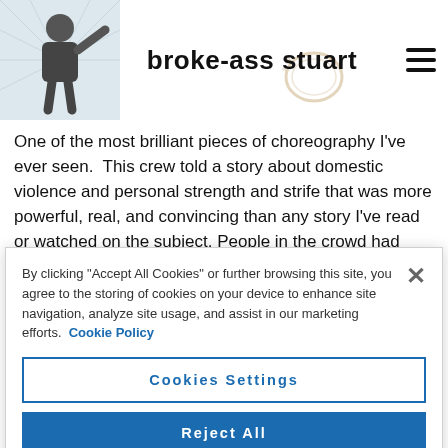broke-ass stuart
One of the most brilliant pieces of choreography I've ever seen.  This crew told a story about domestic violence and personal strength and strife that was more powerful, real, and convincing than any story I've read or watched on the subject. People in the crowd had their
By clicking “Accept All Cookies” or further browsing this site, you agree to the storing of cookies on your device to enhance site navigation, analyze site usage, and assist in our marketing efforts.  Cookie Policy
Cookies Settings
Reject All
Accept All Cookies